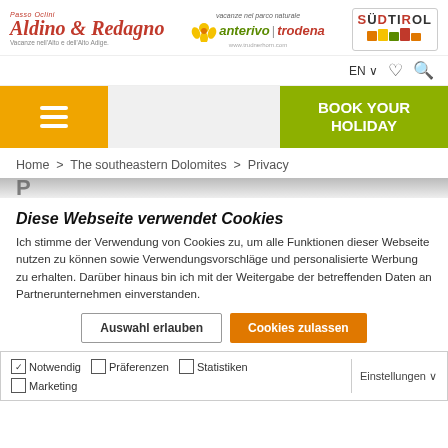[Figure (logo): Aldino & Redagno Passo Oclini logo with tagline in Italian]
[Figure (logo): Anterivo Trodena nature park logo with flower and website URL]
[Figure (logo): Südtirol logo with colored mountain graphic]
EN ∨
[Figure (screenshot): Navigation bar with hamburger menu, search bar area, and BOOK YOUR HOLIDAY green CTA button]
Home > The southeastern Dolomites > Privacy
Diese Webseite verwendet Cookies
Ich stimme der Verwendung von Cookies zu, um alle Funktionen dieser Webseite nutzen zu können sowie Verwendungsvorschläge und personalisierte Werbung zu erhalten. Darüber hinaus bin ich mit der Weitergabe der betreffenden Daten an Partnerunternehmen einverstanden.
Auswahl erlauben | Cookies zulassen
✓ Notwendig  □ Präferenzen  □ Statistiken  □ Marketing  Einstellungen ∨